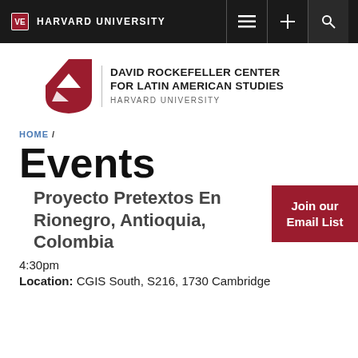HARVARD UNIVERSITY
[Figure (logo): David Rockefeller Center for Latin American Studies, Harvard University logo with crimson shield]
HOME /
Events
Proyecto Pretextos En Rionegro, Antioquia, Colombia
4:30pm
Location: CGIS South, S216, 1730 Cambridge